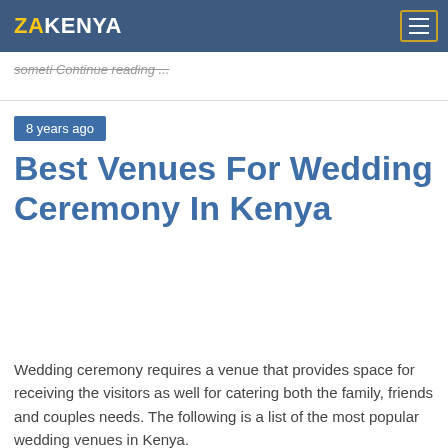ZAKENYA
someti Continue reading ...
8 years ago
Best Venues For Wedding Ceremony In Kenya
Wedding ceremony requires a venue that provides space for receiving the visitors as well for catering both the family, friends and couples needs. The following is a list of the most popular wedding venues in Kenya.